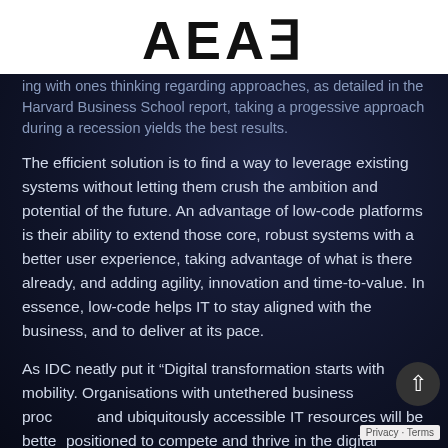[Figure (logo): AEAE logo in large bold black text on white background]
...ing with ones thinking regarding approaches, as detailed in the Harvard Business School report, taking a progessive approach during a recession yields the best results.
The efficient solution is to find a way to leverage existing systems without letting them crush the ambition and potential of the future. An advantage of low-code platforms is their ability to extend those core, robust systems with a better user experience, taking advantage of what is there already, and adding agility, innovation and time-to-value. In essence, low-code helps IT to stay aligned with the business, and to deliver at its pace.
As IDC neatly put it “Digital transformation starts with mobility. Organisations with untethered business proc... and ubiquitously accessible IT resources will be bette... positioned to compete and thrive in the digital economy.”[5]